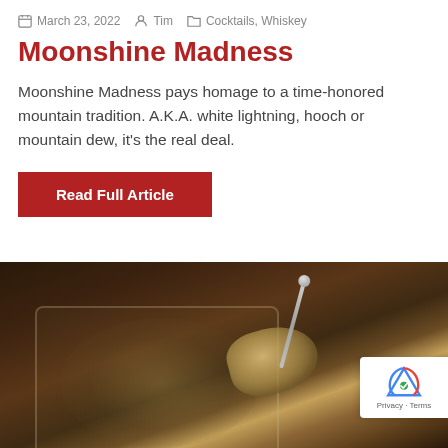March 23, 2022  Tim  Cocktails, Whiskey
Moonshine Madness
Moonshine Madness pays homage to a time-honored mountain tradition. A.K.A. white lightning, hooch or mountain dew, it's the real deal.
Read Full Article
[Figure (photo): A close-up photograph of a cocktail glass containing a whiskey drink with a rock candy garnish on a skewer, set against a dark background.]